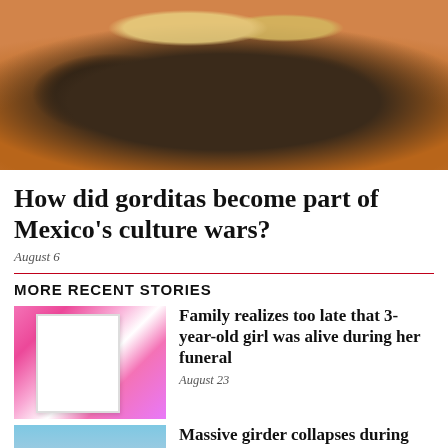[Figure (photo): Photo of dark black gorditas in a terracotta/clay bowl on a wooden surface, stuffed with cheese and toppings]
How did gorditas become part of Mexico’s culture wars?
August 6
MORE RECENT STORIES
[Figure (photo): Thumbnail photo of a framed picture of a young girl in pink dress at a party, with pink Minnie Mouse decorations in background]
Family realizes too late that 3-year-old girl was alive during her funeral
August 23
[Figure (photo): Thumbnail photo of a car roof or vehicle with sky and partial structure visible, related to bridge construction story]
Massive girder collapses during bridge construction in Querétaro